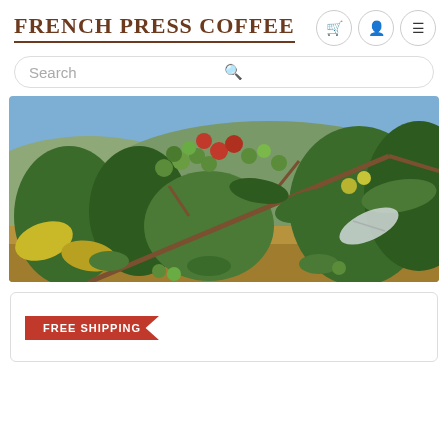FRENCH PRESS COFFEE
Search
[Figure (photo): Close-up photo of coffee plant branches with green and red coffee cherries, with a hillside coffee farm in the background under blue sky.]
FREE SHIPPING